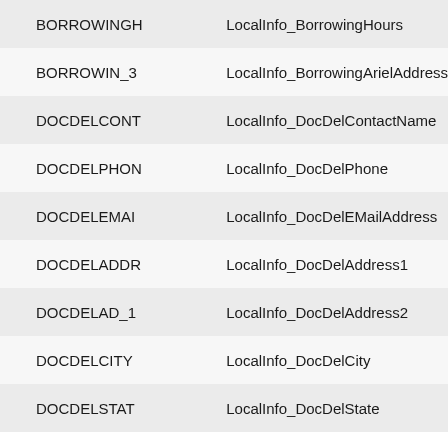| BORROWINGH | LocalInfo_BorrowingHours |
| BORROWIN_3 | LocalInfo_BorrowingArielAddress |
| DOCDELCONT | LocalInfo_DocDelContactName |
| DOCDELPHON | LocalInfo_DocDelPhone |
| DOCDELEMAI | LocalInfo_DocDelEMailAddress |
| DOCDELADDR | LocalInfo_DocDelAddress1 |
| DOCDELAD_1 | LocalInfo_DocDelAddress2 |
| DOCDELCITY | LocalInfo_DocDelCity |
| DOCDELSTAT | LocalInfo_DocDelState |